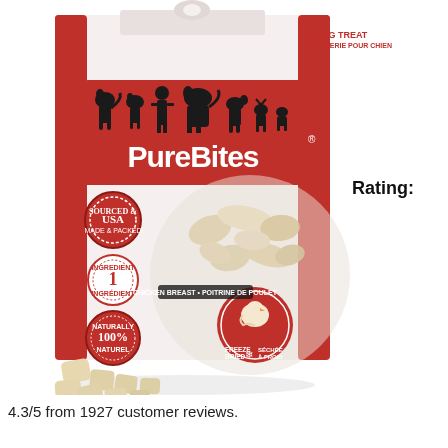[Figure (photo): Product photo of PureBites freeze-dried chicken breast dog treats bag with treat pieces scattered in front. The bag is white and red, showing the PureBites logo, silhouettes of various dogs, USA sourced badge, 1 ingredient badge, 100% natural badge, and a circular window showing freeze-dried chicken breast pieces with a chicken icon and 'FREEZE DRIED' label. Text on bag includes 'DOG TREAT / GÂTERIE POUR CHIEN' and 'CHICKEN BREAST • POITRINE DE POULET'.]
Rating:
4.3/5 from 1927 customer reviews.